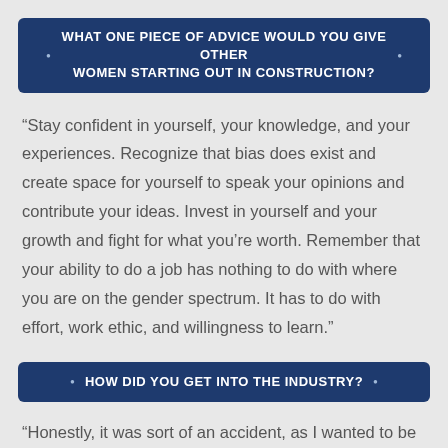WHAT ONE PIECE OF ADVICE WOULD YOU GIVE OTHER WOMEN STARTING OUT IN CONSTRUCTION?
“Stay confident in yourself, your knowledge, and your experiences. Recognize that bias does exist and create space for yourself to speak your opinions and contribute your ideas. Invest in yourself and your growth and fight for what you’re worth. Remember that your ability to do a job has nothing to do with where you are on the gender spectrum. It has to do with effort, work ethic, and willingness to learn.”
HOW DID YOU GET INTO THE INDUSTRY?
“Honestly, it was sort of an accident, as I wanted to be